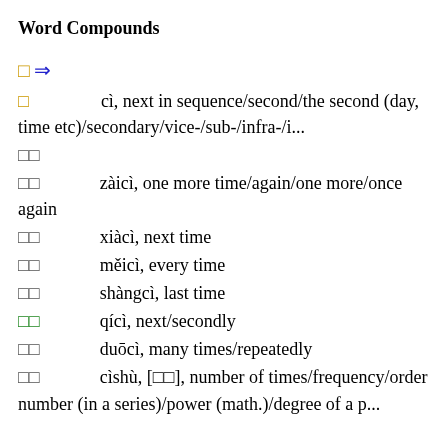Word Compounds
□ ⇒
□        cì, next in sequence/second/the second (day, time etc)/secondary/vice-/sub-/infra-/i...
□□
□□        zàicì, one more time/again/one more/once again
□□        xiàcì, next time
□□        měicì, every time
□□        shàngcì, last time
□□        qícì, next/secondly
□□        duōcì, many times/repeatedly
□□        cìshù, [□□], number of times/frequency/order number (in a series)/power (math.)/degree of a p...